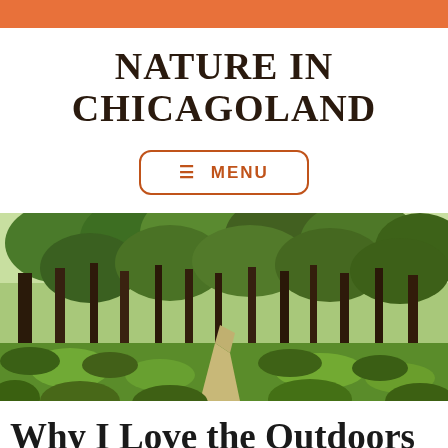NATURE IN CHICAGOLAND
≡ MENU
[Figure (photo): A forest trail scene with tall trees and green undergrowth, sunlit path winding through woodland]
Why I Love the Outdoors